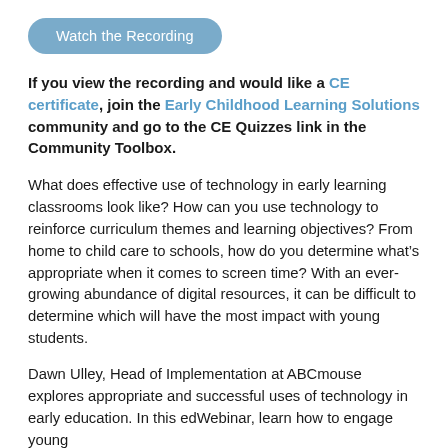[Figure (other): Button labeled 'Watch the Recording' with rounded rectangle shape in steel blue color]
If you view the recording and would like a CE certificate, join the Early Childhood Learning Solutions community and go to the CE Quizzes link in the Community Toolbox.
What does effective use of technology in early learning classrooms look like? How can you use technology to reinforce curriculum themes and learning objectives? From home to child care to schools, how do you determine what’s appropriate when it comes to screen time? With an ever-growing abundance of digital resources, it can be difficult to determine which will have the most impact with young students.
Dawn Ulley, Head of Implementation at ABCmouse explores appropriate and successful uses of technology in early education. In this edWebinar, learn how to engage young